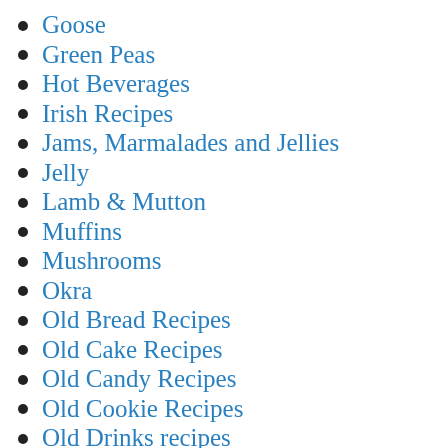Goose
Green Peas
Hot Beverages
Irish Recipes
Jams, Marmalades and Jellies
Jelly
Lamb & Mutton
Muffins
Mushrooms
Okra
Old Bread Recipes
Old Cake Recipes
Old Candy Recipes
Old Cookie Recipes
Old Drinks recipes
Old Fashioned Ice Cream Recipes